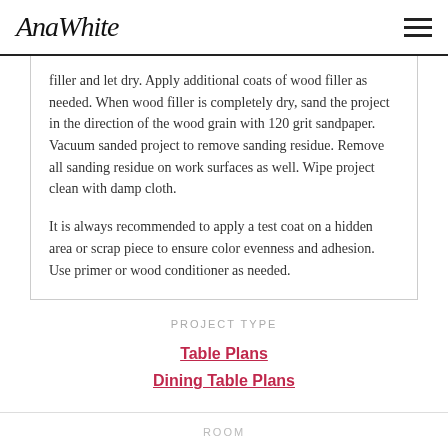AnaWhite
filler and let dry. Apply additional coats of wood filler as needed. When wood filler is completely dry, sand the project in the direction of the wood grain with 120 grit sandpaper. Vacuum sanded project to remove sanding residue. Remove all sanding residue on work surfaces as well. Wipe project clean with damp cloth.
It is always recommended to apply a test coat on a hidden area or scrap piece to ensure color evenness and adhesion. Use primer or wood conditioner as needed.
PROJECT TYPE
Table Plans
Dining Table Plans
ROOM